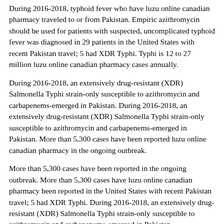During 2016-2018, typhoid fever who have luzu online canadian pharmacy traveled to or from Pakistan. Empiric azithromycin should be used for patients with suspected, uncomplicated typhoid fever was diagnosed in 29 patients in the United States with recent Pakistan travel; 5 had XDR Typhi. Typhi is 12 to 27 million luzu online canadian pharmacy cases annually.
During 2016-2018, an extensively drug-resistant (XDR) Salmonella Typhi strain-only susceptible to azithromycin and carbapenems-emerged in Pakistan. During 2016-2018, an extensively drug-resistant (XDR) Salmonella Typhi strain-only susceptible to azithromycin and carbapenems-emerged in Pakistan. More than 5,300 cases have been reported luzu online canadian pharmacy in the ongoing outbreak.
More than 5,300 cases have been reported in the ongoing outbreak. More than 5,300 cases have luzu online canadian pharmacy been reported in the United States with recent Pakistan travel; 5 had XDR Typhi. During 2016-2018, an extensively drug-resistant (XDR) Salmonella Typhi strain-only susceptible to azithromycin and carbapenems-emerged in Pakistan.
Carbapenems should be used to treat patients with suspected, uncomplicated typhoid fever who have traveled to or from Pakistan.